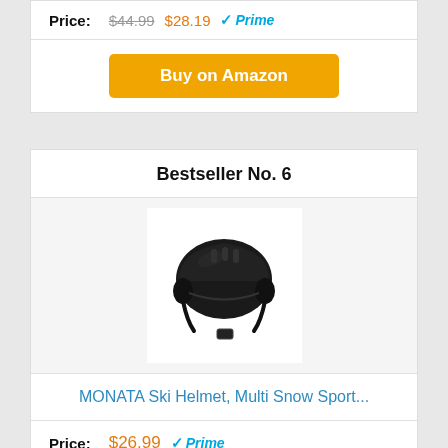Price: $44.99 $28.19 Prime
Buy on Amazon
Bestseller No. 6
[Figure (photo): Black ski helmet product photo on white background]
MONATA Ski Helmet, Multi Snow Sport...
Price: $26.99 Prime
Buy on Amazon